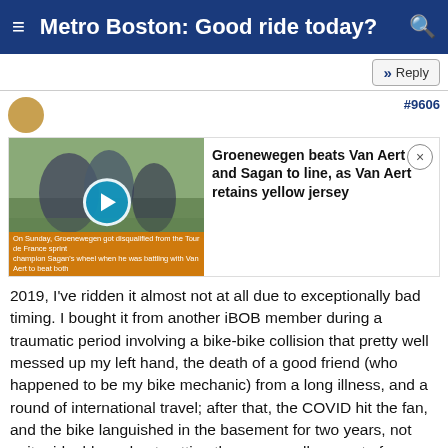Metro Boston: Good ride today?
[Figure (screenshot): News card with thumbnail video showing cycling event. Headline: 'Groenewegen beats Van Aert and Sagan to line, as Van Aert retains yellow jersey']
2019, I've ridden it almost not at all due to exceptionally bad timing. I bought it from another iBOB member during a traumatic period involving a bike-bike collision that pretty well messed up my left hand, the death of a good friend (who happened to be my bike mechanic) from a long illness, and a round of international travel; after that, the COVID hit the fan, and the bike languished in the basement for two years, not quite rideable and not getting the very small amount of attention from me that would have rendered it so, lost in the backlog of bike tinkering projects.